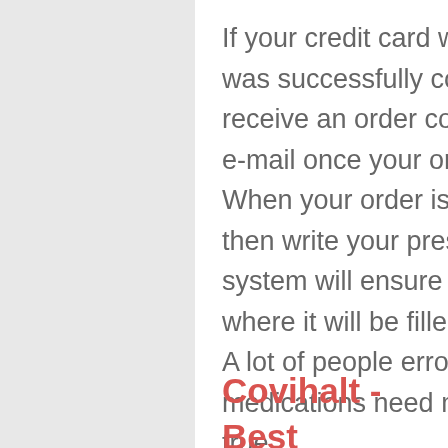If your credit card was accepted and your order was successfully completed, you will immediately receive an order confirmation e-mail and another e-mail once your order has been dispatched. When your order is approved, the physician will then write your prescription and our ordering system will ensure that it is sent to the pharmacy where it will be filled and shipped. A lot of people erroneously believe that generic medications need more time to work, this is not true.
Covihalt - Best Pharmacy